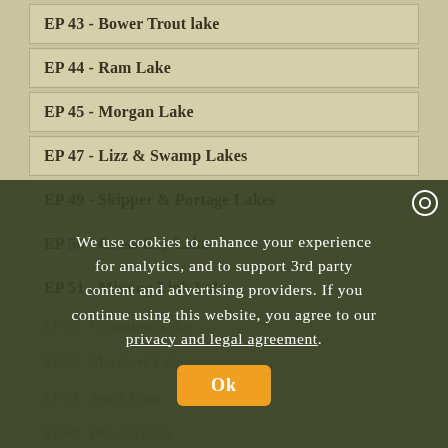EP 43 - Bower Trout lake
EP 44 - Ram Lake
EP 45 - Morgan Lake
EP 47 - Lizz & Swamp Lakes
EP 49 - Skipper & Portage Lakes
EP 50 - Cross Bay Lake
EP 51 - Missing Link Lake
EP 52 - Brant Lake
We use cookies to enhance your experience for analytics, and to support 3rd party content and advertising providers. If you continue using this website, you agree to our privacy and legal agreement.
EP 55 - Ст...
EP 57 - Ma...
EP 59 - South Lake
EP 60 - Duncan Lake
EP 61 - Daniels Lake